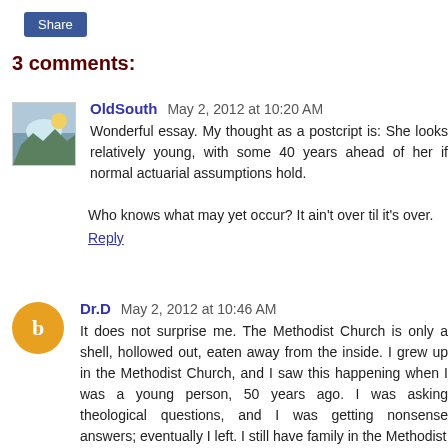Share
3 comments:
OldSouth May 2, 2012 at 10:20 AM
Wonderful essay. My thought as a postcript is: She looks relatively young, with some 40 years ahead of her if normal actuarial assumptions hold.

Who knows what may yet occur? It ain't over til it's over.
Reply
Dr.D May 2, 2012 at 10:46 AM
It does not surprise me. The Methodist Church is only a shell, hollowed out, eaten away from the inside. I grew up in the Methodist Church, and I saw this happening when I was a young person, 50 years ago. I was asking theological questions, and I was getting nonsense answers; eventually I left. I still have family in the Methodist